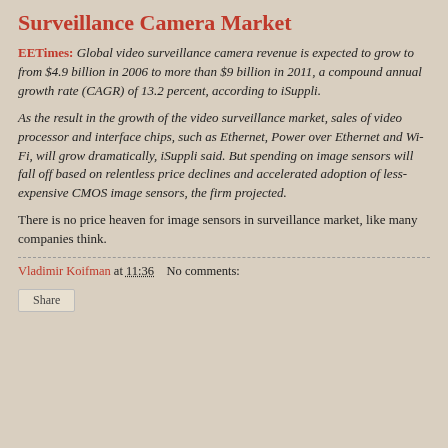Surveillance Camera Market
EETimes: Global video surveillance camera revenue is expected to grow to from $4.9 billion in 2006 to more than $9 billion in 2011, a compound annual growth rate (CAGR) of 13.2 percent, according to iSuppli.
As the result in the growth of the video surveillance market, sales of video processor and interface chips, such as Ethernet, Power over Ethernet and Wi-Fi, will grow dramatically, iSuppli said. But spending on image sensors will fall off based on relentless price declines and accelerated adoption of less-expensive CMOS image sensors, the firm projected.
There is no price heaven for image sensors in surveillance market, like many companies think.
Vladimir Koifman at 11:36   No comments:
Share